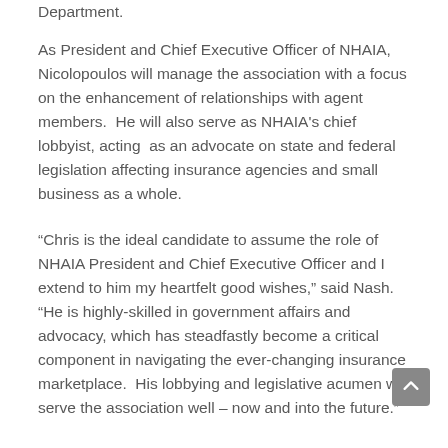Department.
As President and Chief Executive Officer of NHAIA, Nicolopoulos will manage the association with a focus on the enhancement of relationships with agent members.  He will also serve as NHAIA's chief lobbyist, acting  as an advocate on state and federal legislation affecting insurance agencies and small business as a whole.
“Chris is the ideal candidate to assume the role of NHAIA President and Chief Executive Officer and I extend to him my heartfelt good wishes,” said Nash. “He is highly-skilled in government affairs and advocacy, which has steadfastly become a critical component in navigating the ever-changing insurance marketplace.  His lobbying and legislative acumen will serve the association well – now and into the future.”